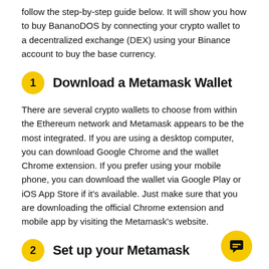follow the step-by-step guide below. It will show you how to buy BananoDOS by connecting your crypto wallet to a decentralized exchange (DEX) using your Binance account to buy the base currency.
1  Download a Metamask Wallet
There are several crypto wallets to choose from within the Ethereum network and Metamask appears to be the most integrated. If you are using a desktop computer, you can download Google Chrome and the wallet Chrome extension. If you prefer using your mobile phone, you can download the wallet via Google Play or iOS App Store if it's available. Just make sure that you are downloading the official Chrome extension and mobile app by visiting the Metamask's website.
2  Set up your Metamask
Register and set up the crypto wallet via the wallet's Google Chrome extension or via the mobile app you downloaded in Step 1. You may refer to the wallet's support page for reference. Make